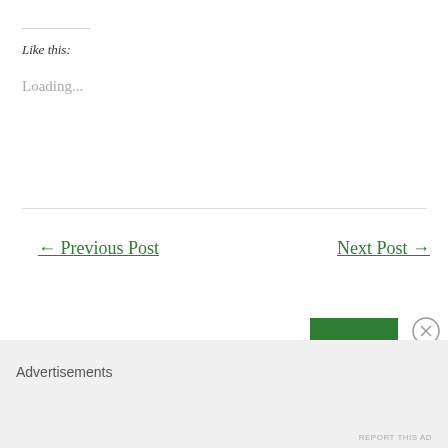Like this:
Loading...
← Previous Post
Next Post →
Advertisements
REPORT THIS AD